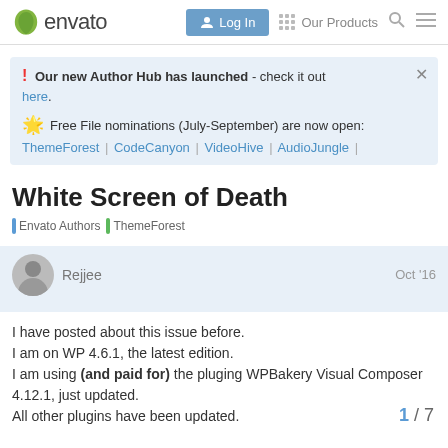envato | Log In | Our Products
Our new Author Hub has launched - check it out here. Free File nominations (July-September) are now open: ThemeForest | CodeCanyon | VideoHive | AudioJungle |
White Screen of Death
Envato Authors   ThemeForest
Rejjee   Oct '16
I have posted about this issue before.
I am on WP 4.6.1, the latest edition.
I am using (and paid for) the pluging WPBakery Visual Composer 4.12.1, just updated.
All other plugins have been updated.
1 / 7